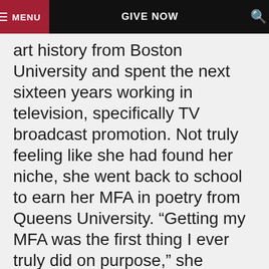MENU | GIVE NOW | Search
art history from Boston University and spent the next sixteen years working in television, specifically TV broadcast promotion. Not truly feeling like she had found her niche, she went back to school to earn her MFA in poetry from Queens University. “Getting my MFA was the first thing I ever truly did on purpose,” she explains. Dr. Young was accepted into the graduate program in the Department of English at UGA, earning her PhD in 20th- and 21st-century American literature with an emphasis in experimental female